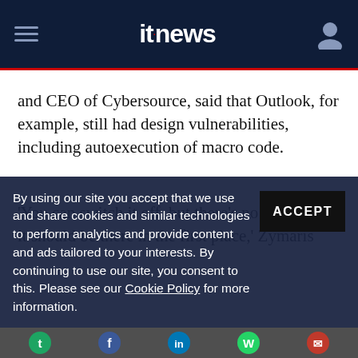itnews
and CEO of Cybersource, said that Outlook, for example, still had design vulnerabilities, including autoexecution of macro code.
'You can switch it off, but there's no reason why it should be there in the first place,' Zymaris
By using our site you accept that we use and share cookies and similar technologies to perform analytics and provide content and ads tailored to your interests. By continuing to use our site, you consent to this. Please see our Cookie Policy for more information.